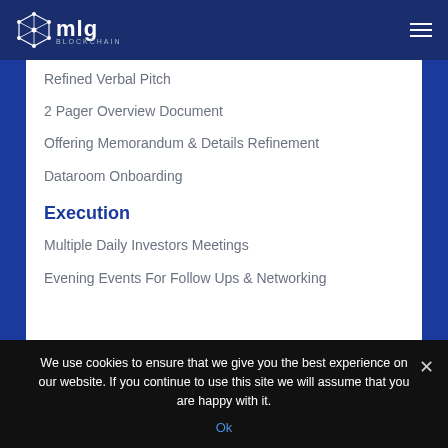mlg blockchain
Refined Verbal Pitch
2 Pager Overview Document
Offering Memorandum & Details Refinement
Dataroom Onboarding
Execution
Multiple Daily Investors Meetings
Evening Events For Follow Ups & Networking
We use cookies to ensure that we give you the best experience on our website. If you continue to use this site we will assume that you are happy with it. Ok